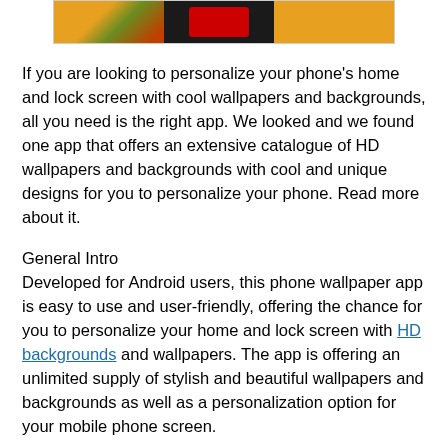[Figure (screenshot): Three phone screenshots showing wallpaper app, displayed in a bordered strip: left shows colorful nature/food wallpaper, middle shows a dark phone UI, right shows an orange background with text.]
If you are looking to personalize your phone's home and lock screen with cool wallpapers and backgrounds, all you need is the right app. We looked and we found one app that offers an extensive catalogue of HD wallpapers and backgrounds with cool and unique designs for you to personalize your phone. Read more about it.
General Intro
Developed for Android users, this phone wallpaper app is easy to use and user-friendly, offering the chance for you to personalize your home and lock screen with HD backgrounds and wallpapers. The app is offering an unlimited supply of stylish and beautiful wallpapers and backgrounds as well as a personalization option for your mobile phone screen.
App's Features
This personalization app offers variety of the best HD and 8K wallpapers and backgrounds for your phone. Unlock completely